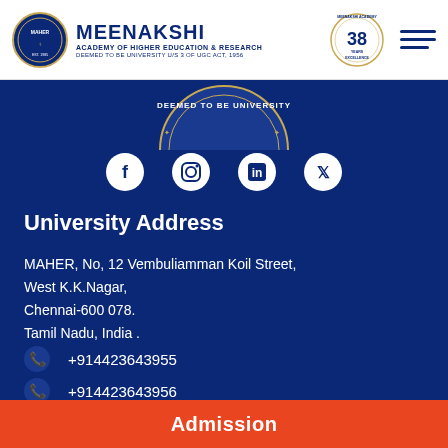[Figure (logo): Meenakshi Academy of Higher Education and Research header with circular logo, institution name MEENAKSHI ACADEMY OF HIGHER EDUCATION & RESEARCH, DEEMED TO BE UNIVERSITY U/S 3 OF UGC ACT, 1956, a 38 years excellence badge, and a hamburger menu icon]
[Figure (illustration): Partial university seal/crest showing text DEEMED TO BE UNIVERSITY on a dark blue background]
[Figure (illustration): Social media icons row: Facebook, Instagram, LinkedIn, Twitter on dark blue background]
University Address
MAHER, No, 12 Vembuliamman Koil Street, West K.K.Nagar, Chennai-600 078. Tamil Nadu, India .
+914423643955
+914423643956
Admission